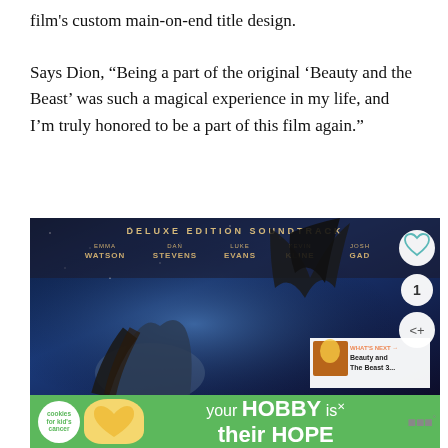film's custom main-on-end title design.
Says Dion, “Being a part of the original ‘Beauty and the Beast’ was such a magical experience in my life, and I’m truly honored to be a part of this film again.”
[Figure (screenshot): Beauty and the Beast Deluxe Edition Soundtrack album cover screenshot showing Emma Watson, Dan Stevens, Luke Evans, Kevin Kline, Josh Gad listed at top, with a woman and beast silhouette on a blue starry background. Includes a heart/like button showing 1, a share button, and a 'What's Next' overlay showing 'Beauty and The Beast 3...']
[Figure (infographic): Green advertisement banner for 'cookies for kid's cancer' charity showing a heart-shaped cookie, with text 'your HOBBY is their HOPE']